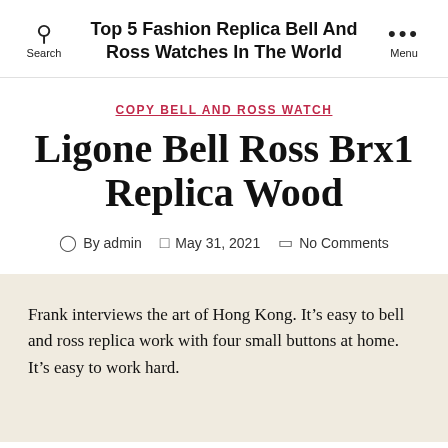Top 5 Fashion Replica Bell And Ross Watches In The World
COPY BELL AND ROSS WATCH
Ligone Bell Ross Brx1 Replica Wood
By admin  May 31, 2021  No Comments
Frank interviews the art of Hong Kong. It’s easy to bell and ross replica work with four small buttons at home. It’s easy to work hard.